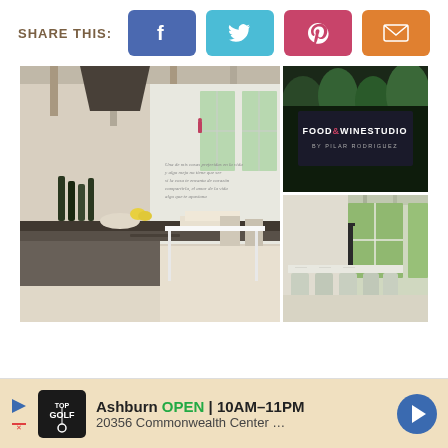SHARE THIS:
[Figure (photo): Four social share buttons: Facebook (blue), Twitter (teal), Pinterest (pink/red), Email (orange)]
[Figure (photo): Collage of three photos of Food & Wine Studio by Pilar Rodriguez: a large kitchen/cooking studio interior on the left, a sign reading FOOD&WINE STUDIO by Pilar Rodriguez top right, and a dining room interior bottom right]
[Figure (infographic): Advertisement banner for Topgolf in Ashburn: OPEN 10AM-11PM, 20356 Commonwealth Center...]